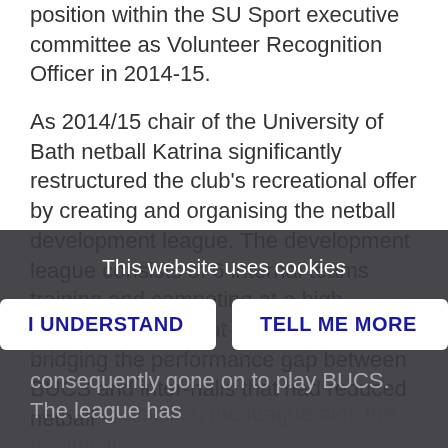Volunteering capacity, she also held the elected position within the SU Sport executive committee as Volunteer Recognition Officer in 2014-15.
As 2014/15 chair of the University of Bath netball Katrina significantly restructured the club's recreational offer by creating and organising the netball development league. The development league consists of 6 internal teams training and competing at a high standard throughout the season, bridging the performance gap between BUCS and inter-halls that had reduced netball participation in previous seasons. With each of the 6 teams coached by students who are able to further their coaching abilities, the league aids the technical development and consequently gone on to play BUCS. The league has
This website uses cookies
I UNDERSTAND
TELL ME MORE